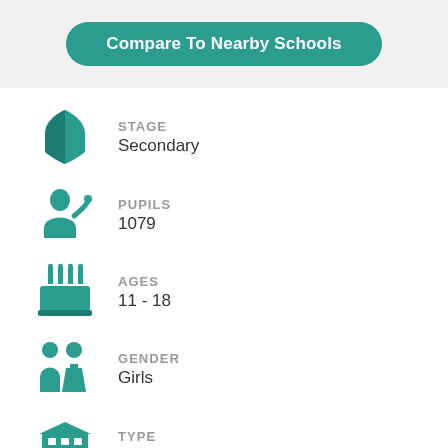Compare To Nearby Schools
STAGE: Secondary
PUPILS: 1079
AGES: 11 - 18
GENDER: Girls
TYPE: Academy converter
Unlock for full access